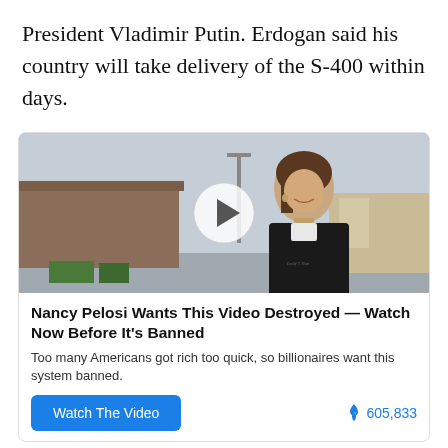President Vladimir Putin. Erdogan said his country will take delivery of the S-400 within days.
[Figure (photo): Video thumbnail showing a woman smiling outdoors near an industrial building, with a white circular play button overlay in the center]
Nancy Pelosi Wants This Video Destroyed — Watch Now Before It's Banned
Too many Americans got rich too quick, so billionaires want this system banned.
Watch The Video   605,833